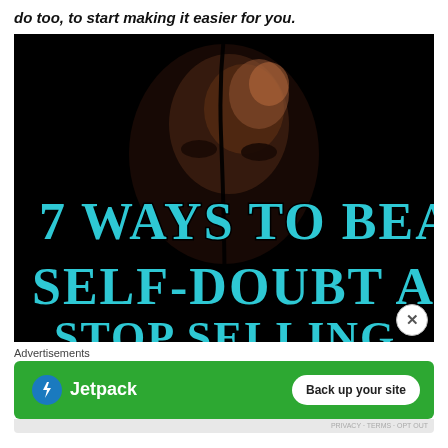do too, to start making it easier for you.
[Figure (photo): Dark photo of a person's face partially lit, with text overlay reading '7 WAYS TO BEAT SELF-DOUBT AND' in teal/cyan stylized lettering on a black background.]
Advertisements
[Figure (infographic): Jetpack advertisement banner: green background with Jetpack logo (lightning bolt in circle) and text 'Jetpack', plus a white rounded button reading 'Back up your site'.]